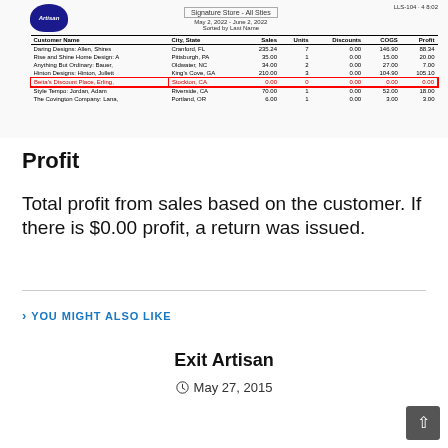| Customer Name | City, State | Sales | Units | Discounts | COGS | Profit |
| --- | --- | --- | --- | --- | --- | --- |
| Daring Designs: Allen, Shires | Cranford, FL | 235.24 | 7 | 0.00 | 146.90 | 88.34 |
| Rise and Shine Home Design: A | Pittsburgh, PA | 35.00 | 1 | 0.00 | 15.00 | 20.00 |
| Anything But Ordinary: Bauer, | Oldwater, NC | 34.00 | 2 | 0.00 | 27.00 | 7.00 |
| Hinton Designs: Hinton, Jullett | King's Cove, GA | 210.00 | 3 | 0.00 | 104.90 | 105.10 |
| Beita's Discount Place, Erling, | Stockton, CA | 0.00 | 0 | 0.00 | 0.00 | 0.00 |
| Style Tempo: Jordan, Adam | Riverside, CA | 70.00 | 1 | 0.00 | 52.00 | 18.00 |
| The Covington Company: Lana, | Portland, OR | 6.00 | 1 | 0.00 | 3.00 | 3.00 |
Profit
Total profit from sales based on the customer. If there is $0.00 profit, a return was issued.
YOU MIGHT ALSO LIKE
Exit Artisan
May 27, 2015